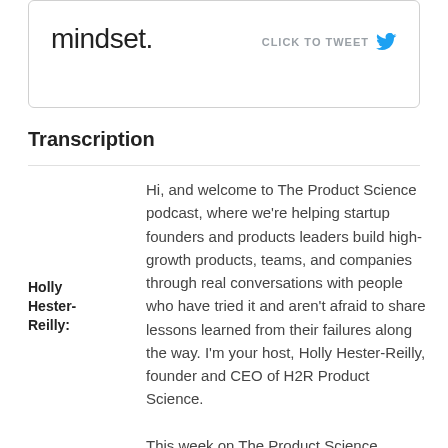mindset.
CLICK TO TWEET
Transcription
Holly Hester-Reilly:
Hi, and welcome to The Product Science podcast, where we're helping startup founders and products leaders build high-growth products, teams, and companies through real conversations with people who have tried it and aren't afraid to share lessons learned from their failures along the way. I'm your host, Holly Hester-Reilly, founder and CEO of H2R Product Science.
This week on The Product Science podcast, I'm excited to share a conversation with Robbie Kellman